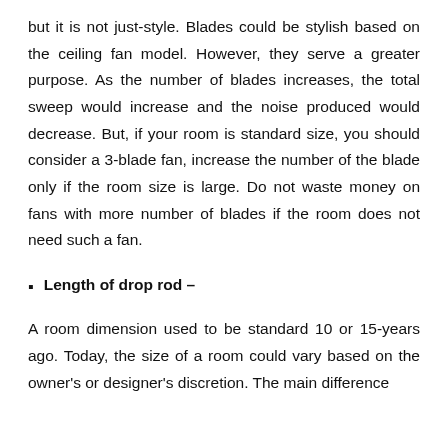but it is not just-style. Blades could be stylish based on the ceiling fan model. However, they serve a greater purpose. As the number of blades increases, the total sweep would increase and the noise produced would decrease. But, if your room is standard size, you should consider a 3-blade fan, increase the number of the blade only if the room size is large. Do not waste money on fans with more number of blades if the room does not need such a fan.
Length of drop rod –
A room dimension used to be standard 10 or 15-years ago. Today, the size of a room could vary based on the owner's or designer's discretion. The main difference